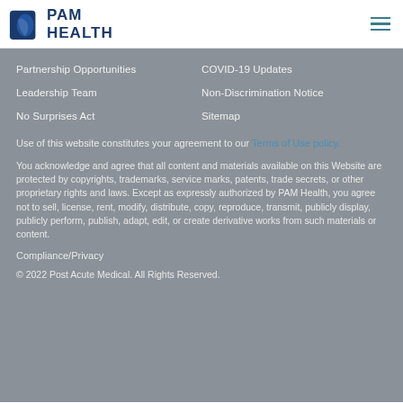[Figure (logo): PAM Health logo with blue shield/leaf icon and bold blue text reading PAM HEALTH]
Partnership Opportunities
COVID-19 Updates
Leadership Team
Non-Discrimination Notice
No Surprises Act
Sitemap
Use of this website constitutes your agreement to our Terms of Use policy.
You acknowledge and agree that all content and materials available on this Website are protected by copyrights, trademarks, service marks, patents, trade secrets, or other proprietary rights and laws. Except as expressly authorized by PAM Health, you agree not to sell, license, rent, modify, distribute, copy, reproduce, transmit, publicly display, publicly perform, publish, adapt, edit, or create derivative works from such materials or content.
Compliance/Privacy
© 2022 Post Acute Medical. All Rights Reserved.